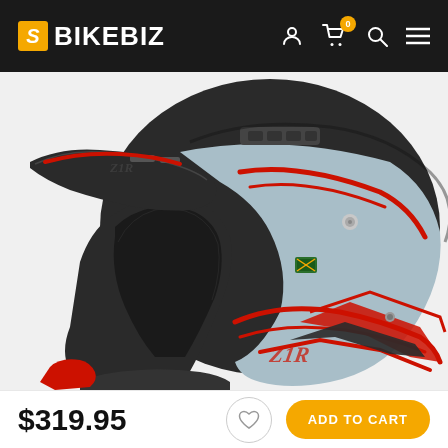BIKEBIZ
[Figure (photo): Motocross helmet in black, grey/light blue and red graphic design. The helmet has a visor/peak and open face design typical of off-road/MX helmets. Brand appears to be Z1R. Photographed on a white/light background.]
$319.95
ADD TO CART